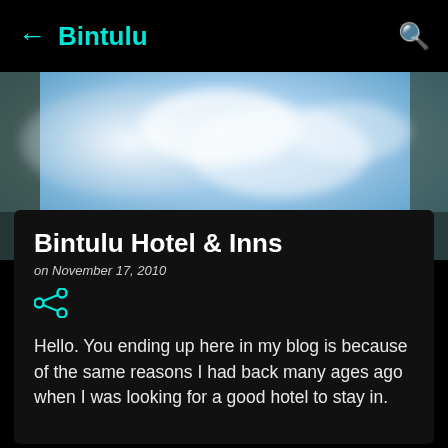← Bintulu 🔍
[Figure (photo): Blurred outdoor sky photo with blue sky and clouds, used as decorative header background image]
Bintulu Hotel & Inns
on November 17, 2010
Hello. You ending up here in my blog is because of the same reasons I had back many ages ago when I was looking for a good hotel to stay in.